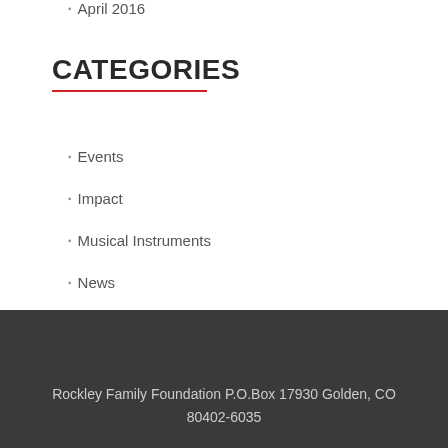April 2016
CATEGORIES
Events
Impact
Musical Instruments
News
Rockley Family Foundation
Rockley Family Foundation P.O.Box 17930 Golden, CO 80402-6035